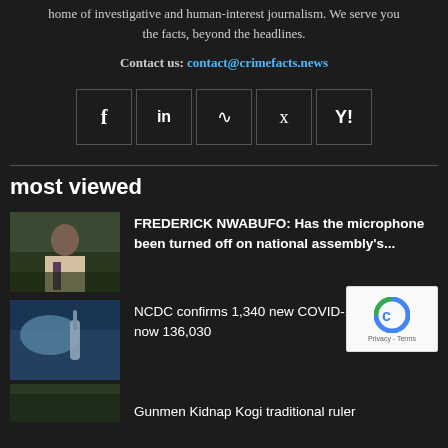home of investigative and human-interest journalism. We serve you the facts, beyond the headlines.
Contact us: contact@crimefacts.news
[Figure (infographic): Row of social media icon buttons: Facebook (f), LinkedIn (in), RSS feed, Twitter bird, Yahoo (Y!)]
most viewed
[Figure (photo): Photo of a man in a white shirt and dark tie seated at a desk]
FREDERICK NWABUFO: Has the microphone been turned off on national assembly's...
[Figure (photo): Medical photo showing gloved hands with a syringe and face mask]
NCDC confirms 1,340 new COVID-19 cases, toll now 136,030
Gunmen Kidnap Kogi traditional ruler